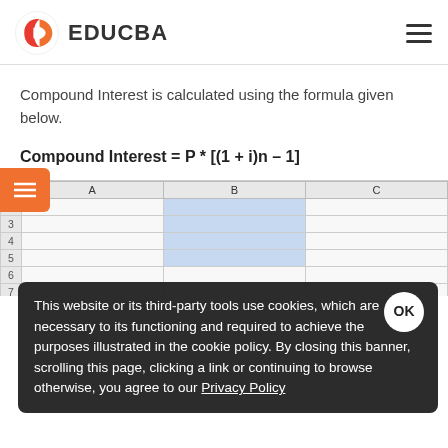EDUCBA
Compound Interest is calculated using the formula given below.
[Figure (screenshot): Excel spreadsheet showing columns A, B, C with row numbers 2 through 11. Row 10 contains 'Compound interest is calculated using the formula given below' and row 11 shows the compound interest formula in bold.]
This website or its third-party tools use cookies, which are necessary to its functioning and required to achieve the purposes illustrated in the cookie policy. By closing this banner, scrolling this page, clicking a link or continuing to browse otherwise, you agree to our Privacy Policy